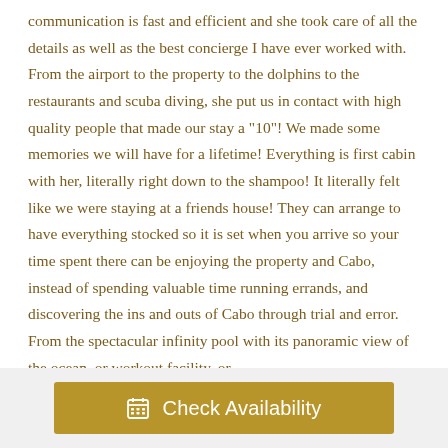communication is fast and efficient and she took care of all the details as well as the best concierge I have ever worked with. From the airport to the property to the dolphins to the restaurants and scuba diving, she put us in contact with high quality people that made our stay a "10"! We made some memories we will have for a lifetime! Everything is first cabin with her, literally right down to the shampoo! It literally felt like we were staying at a friends house! They can arrange to have everything stocked so it is set when you arrive so your time spent there can be enjoying the property and Cabo, instead of spending valuable time running errands, and discovering the ins and outs of Cabo through trial and error. From the spectacular infinity pool with its panoramic view of the ocean, or workout facility, or
[Figure (other): Check Availability button with calendar icon, gold/brown background, white text]